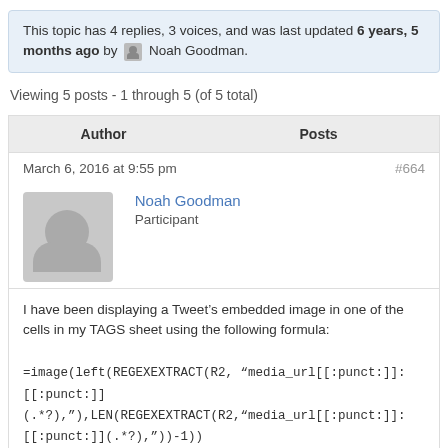This topic has 4 replies, 3 voices, and was last updated 6 years, 5 months ago by Noah Goodman.
Viewing 5 posts - 1 through 5 (of 5 total)
| Author | Posts |
| --- | --- |
| March 6, 2016 at 9:55 pm | #664 |
| Noah Goodman
Participant |  |
| I have been displaying a Tweet’s embedded image in one of the cells in my TAGS sheet using the following formula:

=image(left(REGEXEXTRACT(R2, “media_url[[:punct:]][[:punct:]](.*?),”),LEN(REGEXEXTRACT(R2,“media_url[[:punct:]][[:punct:]](.*?),”))-1)) |  |